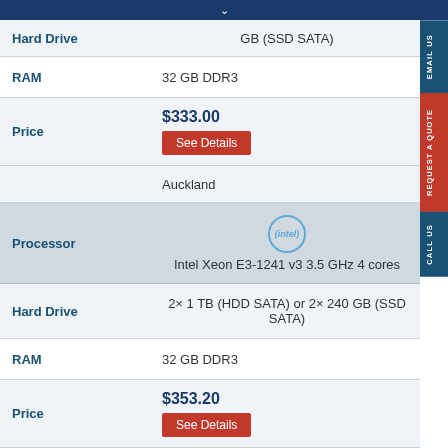Hard Drive | GB (SSD SATA)
| Attribute | Value |
| --- | --- |
| Hard Drive | GB (SSD SATA) |
| RAM | 32 GB DDR3 |
| Price | $333.00 See Details |
|  | Auckland |
| Processor | Intel Xeon E3-1241 v3 3.5 GHz 4 cores |
| Hard Drive | 2× 1 TB (HDD SATA) or 2× 240 GB (SSD SATA) |
| RAM | 32 GB DDR3 |
| Price | $353.20 See Details |